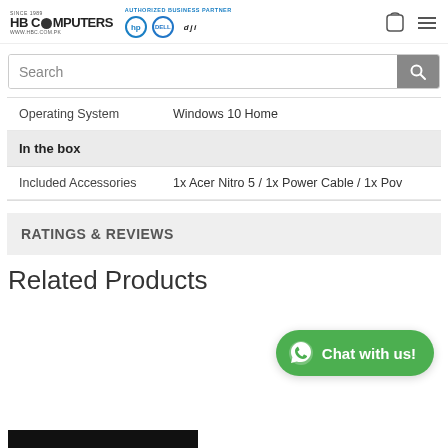[Figure (logo): HB Computers logo with 'Since 1989' and 'www.hbc.com.pk', alongside authorized business partner logos: HP, Dell, Apple, DJI]
[Figure (screenshot): Search bar with search icon button]
| Operating System | Windows 10 Home |
| In the box |  |
| Included Accessories | 1x Acer Nitro 5 / 1x Power Cable / 1x Pov |
RATINGS & REVIEWS
Related Products
[Figure (other): WhatsApp Chat with us! green button]